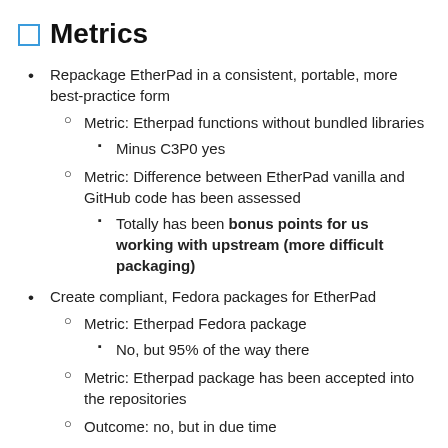Metrics
Repackage EtherPad in a consistent, portable, more best-practice form
Metric: Etherpad functions without bundled libraries
Minus C3P0 yes
Metric: Difference between EtherPad vanilla and GitHub code has been assessed
Totally has been bonus points for us working with upstream (more difficult packaging)
Create compliant, Fedora packages for EtherPad
Metric: Etherpad Fedora package
No, but 95% of the way there
Metric: Etherpad package has been accepted into the repositories
Outcome: no, but in due time
Setup EtherPad instance on Fedora Infrastructure
Metric: Etherpad is running on Fedora Infra staging